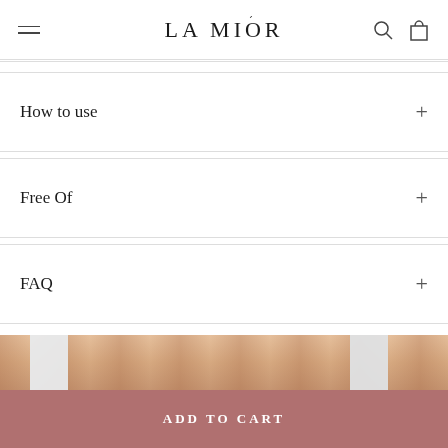LA MIÓR
How to use
Free Of
FAQ
[Figure (photo): Product bottles on a wooden surface with warm tones]
ADD TO CART